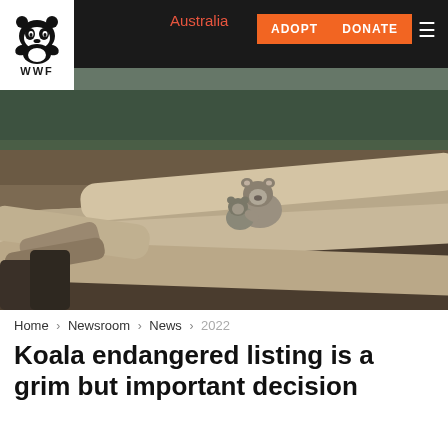Australia | ADOPT | DONATE
[Figure (photo): Two koalas sitting on large felled logs in a cleared area with dense green forest in the background]
Home > Newsroom > News > 2022
Koala endangered listing is a grim but important decision